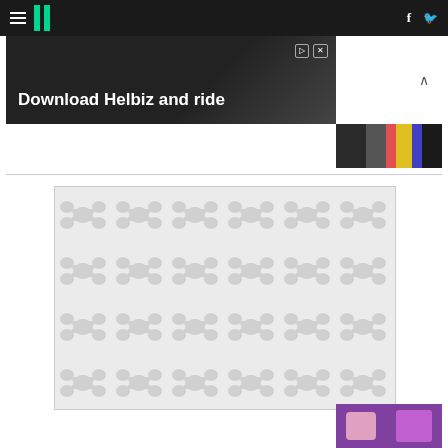HuffPost navigation bar with hamburger menu, logo, Facebook and Twitter icons
[Figure (photo): Advertisement banner: 'Download Helbiz and ride' with dark background showing a vehicle/scooter. Has play and close controls at top right.]
[Figure (photo): Small colorful thumbnail image at top right of page]
[Figure (illustration): Large placeholder image with gray repeating organic/blob pattern on light gray background]
[Figure (photo): Small thumbnail image at bottom right of page]